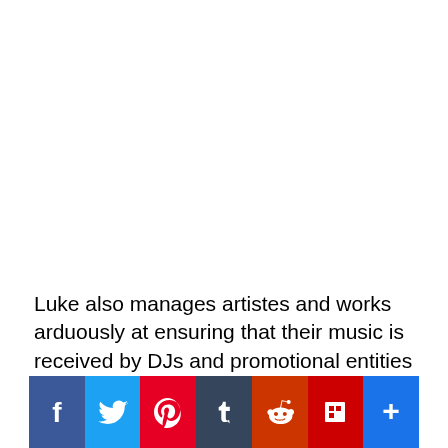Luke also manages artistes and works arduously at ensuring that their music is received by DJs and promotional entities across the world. “There’s room for everyone in the soca music market. There are carnivals in every major city acros... d w... wh... ha... Trinidad is the mecca of the festival, there are other
[Figure (other): Social media sharing buttons bar: Facebook, Twitter, Pinterest, Tumblr, Reddit, Flipboard, and a share/add button]